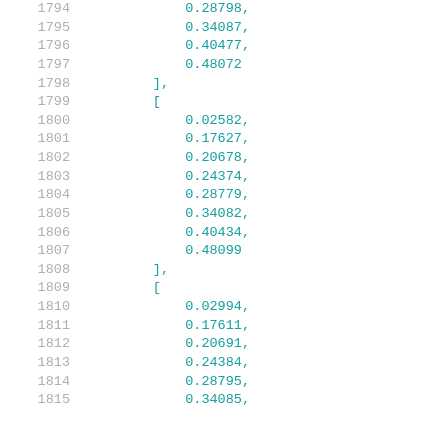1794    0.28798,
1795    0.34087,
1796    0.40477,
1797    0.48072
1798    ],
1799    [
1800    0.02582,
1801    0.17627,
1802    0.20678,
1803    0.24374,
1804    0.28779,
1805    0.34082,
1806    0.40434,
1807    0.48099
1808    ],
1809    [
1810    0.02994,
1811    0.17611,
1812    0.20691,
1813    0.24384,
1814    0.28795,
1815    0.34085,